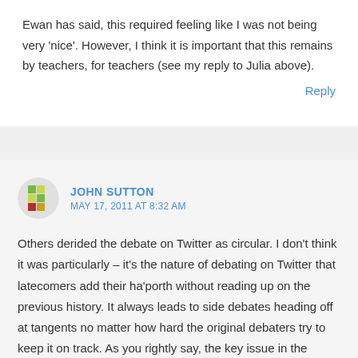Ewan has said, this required feeling like I was not being very 'nice'. However, I think it is important that this remains by teachers, for teachers (see my reply to Julia above).
Reply
JOHN SUTTON
MAY 17, 2011 AT 8:32 AM
Others derided the debate on Twitter as circular. I don't think it was particularly – it's the nature of debating on Twitter that latecomers add their ha'porth without reading up on the previous history. It always leads to side debates heading off at tangents no matter how hard the original debaters try to keep it on track. As you rightly say, the key issue in the